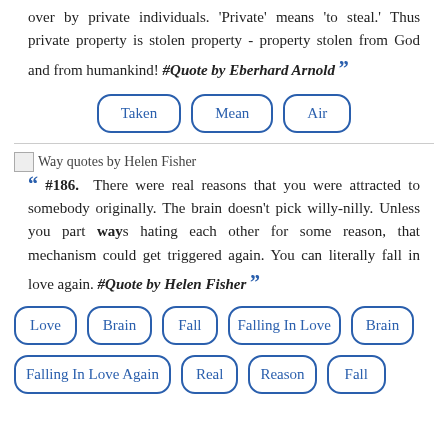over by private individuals. 'Private' means 'to steal.' Thus private property is stolen property - property stolen from God and from humankind! #Quote by Eberhard Arnold
Taken
Mean
Air
[Figure (other): Way quotes by Helen Fisher image placeholder]
#186. There were real reasons that you were attracted to somebody originally. The brain doesn't pick willy-nilly. Unless you part ways hating each other for some reason, that mechanism could get triggered again. You can literally fall in love again. #Quote by Helen Fisher
Love
Brain
Fall
Falling In Love
Brain
Falling In Love Again
Real
Reason
Fall